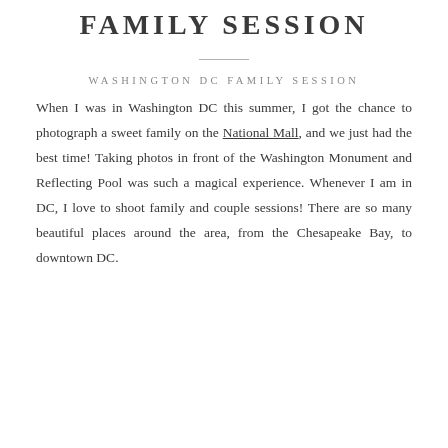FAMILY SESSION
WASHINGTON DC FAMILY SESSION
When I was in Washington DC this summer, I got the chance to photograph a sweet family on the National Mall, and we just had the best time! Taking photos in front of the Washington Monument and Reflecting Pool was such a magical experience. Whenever I am in DC, I love to shoot family and couple sessions! There are so many beautiful places around the area, from the Chesapeake Bay, to downtown DC.